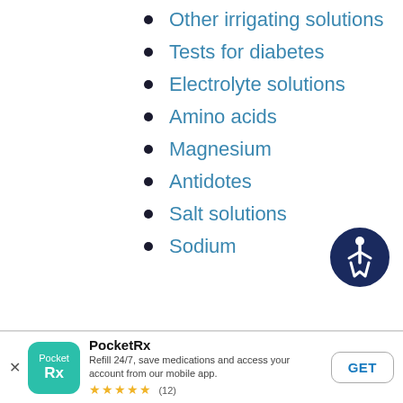Other irrigating solutions
Tests for diabetes
Electrolyte solutions
Amino acids
Magnesium
Antidotes
Salt solutions
Sodium
[Figure (illustration): Accessibility icon: dark navy circle with white wheelchair-user symbol]
PocketRx
Refill 24/7, save medications and access your account from our mobile app.
★★★★★ (12)